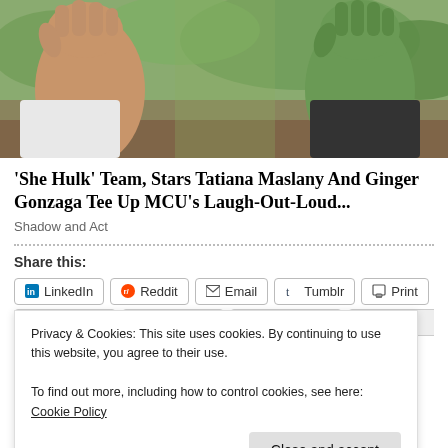[Figure (photo): Close-up photo of two pairs of hands facing each other, one person with normal skin tone and one with green (She-Hulk) skin tone, outdoors with foliage background.]
'She Hulk' Team, Stars Tatiana Maslany And Ginger Gonzaga Tee Up MCU's Laugh-Out-Loud...
Shadow and Act
Share this:
LinkedIn  Reddit  Email  Tumblr  Print
Privacy & Cookies: This site uses cookies. By continuing to use this website, you agree to their use.
To find out more, including how to control cookies, see here: Cookie Policy
Close and accept